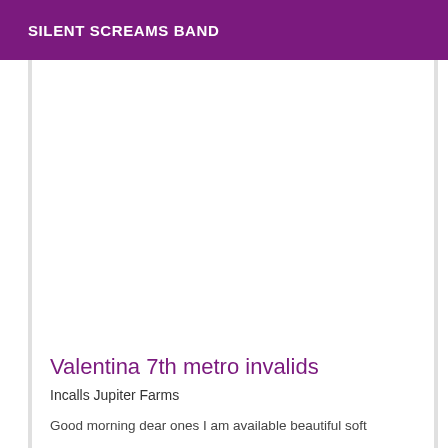SILENT SCREAMS BAND
Valentina 7th metro invalids
Incalls Jupiter Farms
Good morning dear ones I am available beautiful soft